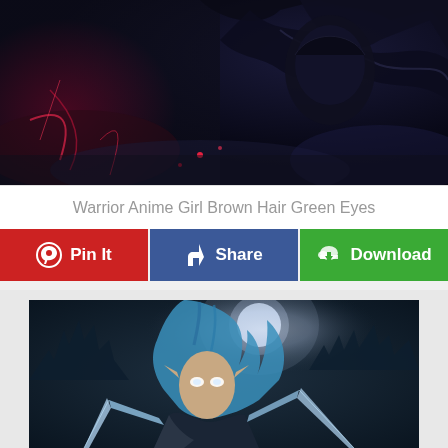[Figure (illustration): Dark fantasy warrior character with dramatic red and dark blue lighting, wearing black armor with wing-like elements, set against a dark stormy background.]
Warrior Anime Girl Brown Hair Green Eyes
[Figure (infographic): Three social sharing buttons: Pin It (red, Pinterest icon), Share (blue, Facebook icon), Download (green, cloud download icon)]
[Figure (illustration): Anime-style elf warrior girl with blue hair and glowing white eyes, holding swords, set against a moonlit icy castle background.]